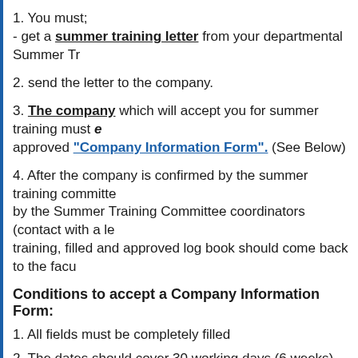1. You must;
- get a summer training letter from your departmental Summer Tr
2. send the letter to the company.
3. The company which will accept you for summer training must e... approved "Company Information Form". (See Below)
4. After the company is confirmed by the summer training committe... by the Summer Training Committee coordinators (contact with a le... training, filled and approved log book should come back to the facu...
Conditions to accept a Company Information Form:
1. All fields must be completely filled
2. The dates should cover 30 working days (6 weeks). Working Day...
3. All provided emails must be comany domain emails, not yahoo,g...
4. Number of employees must be reasonably high, not 4,5 employe...
5. Engineers' information must be correct and include at least one...